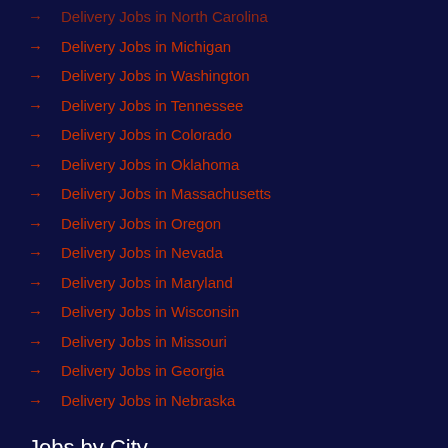Delivery Jobs in North Carolina
Delivery Jobs in Michigan
Delivery Jobs in Washington
Delivery Jobs in Tennessee
Delivery Jobs in Colorado
Delivery Jobs in Oklahoma
Delivery Jobs in Massachusetts
Delivery Jobs in Oregon
Delivery Jobs in Nevada
Delivery Jobs in Maryland
Delivery Jobs in Wisconsin
Delivery Jobs in Missouri
Delivery Jobs in Georgia
Delivery Jobs in Nebraska
Jobs by City